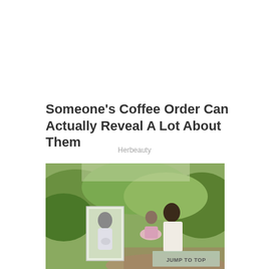Someone’s Coffee Order Can Actually Reveal A Lot About Them
Herbeauty
[Figure (photo): Outdoor photo of a man crouching next to a toddler in a pink tutu dress, holding a framed photo of a pregnant woman, set in a nature background with green bushes]